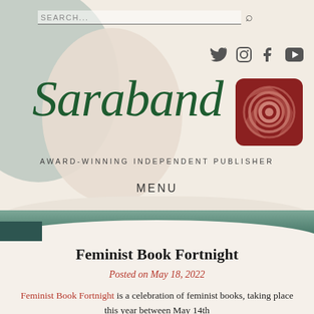[Figure (screenshot): Saraband publisher website header with decorative abstract shapes in sage green and beige tones, search bar, social media icons (Twitter, Instagram, Facebook, YouTube), Saraband logo in dark green italic serif font, a dark red rose icon, tagline AWARD-WINNING INDEPENDENT PUBLISHER, MENU label, and a teal-green decorative wave divider.]
Feminist Book Fortnight
Posted on May 18, 2022
Feminist Book Fortnight is a celebration of feminist books, taking place this year between May 14th